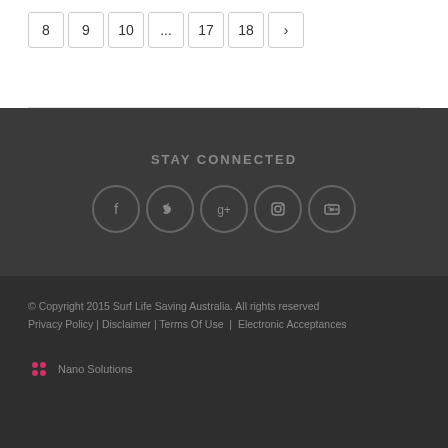Pagination: 8, 9, 10, ..., 17, 18, ›
STAY CONNECTED
[Figure (infographic): Five social media icons in circles: Facebook (f), Twitter bird, Google+, Instagram camera, YouTube]
© Copyright 2015 Surf Life Saving Australia. All rights reserved
Privacy Policy | Disclaimer | Terms Of Use | Electronic Acceptances
Nano Solutions